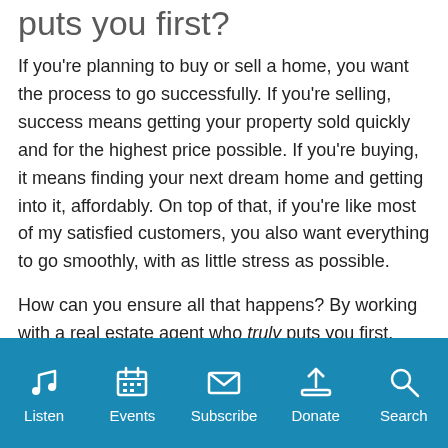puts you first?
If you're planning to buy or sell a home, you want the process to go successfully. If you're selling, success means getting your property sold quickly and for the highest price possible. If you're buying, it means finding your next dream home and getting into it, affordably. On top of that, if you're like most of my satisfied customers, you also want everything to go smoothly, with as little stress as possible.
How can you ensure all that happens? By working with a real estate agent who truly puts you first.
I'm proud to be the real estate agent of choice for those who want a great experience buying or selling a home. My
Listen  Events  Subscribe  Donate  Search